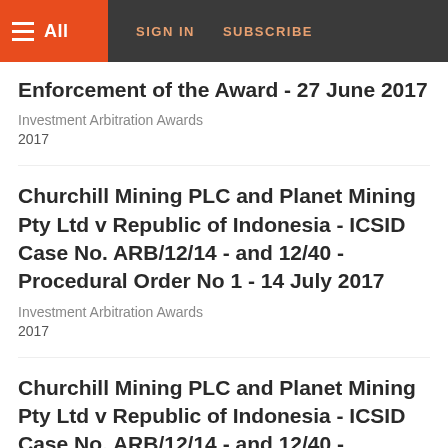All | SIGN IN | SUBSCRIBE
Enforcement of the Award - 27 June 2017
Investment Arbitration Awards
2017
Churchill Mining PLC and Planet Mining Pty Ltd v Republic of Indonesia - ICSID Case No. ARB/12/14 - and 12/40 - Procedural Order No 1 - 14 July 2017
Investment Arbitration Awards
2017
Churchill Mining PLC and Planet Mining Pty Ltd v Republic of Indonesia - ICSID Case No. ARB/12/14 - and 12/40 - Procedural